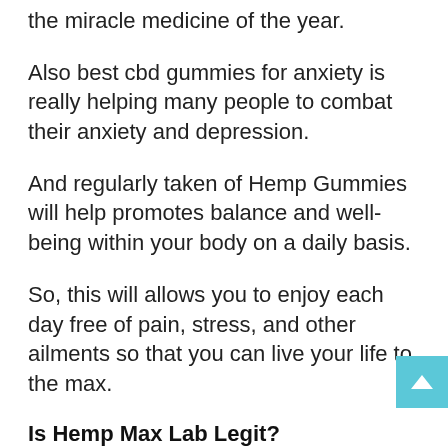the miracle medicine of the year.
Also best cbd gummies for anxiety is really helping many people to combat their anxiety and depression.
And regularly taken of Hemp Gummies will help promotes balance and well-being within your body on a daily basis.
So, this will allows you to enjoy each day free of pain, stress, and other ailments so that you can live your life to the max.
Is Hemp Max Lab Legit?
Hemp Max Lab is Legit and not a a scam because Hemp Max Lab CBD drops are made up